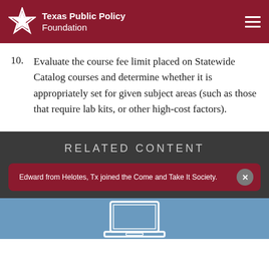Texas Public Policy Foundation
10. Evaluate the course fee limit placed on Statewide Catalog courses and determine whether it is appropriately set for given subject areas (such as those that require lab kits, or other high-cost factors).
RELATED CONTENT
Edward from Helotes, Tx joined the Come and Take It Society.
[Figure (illustration): Partial illustration of a laptop icon in white outline on blue background]